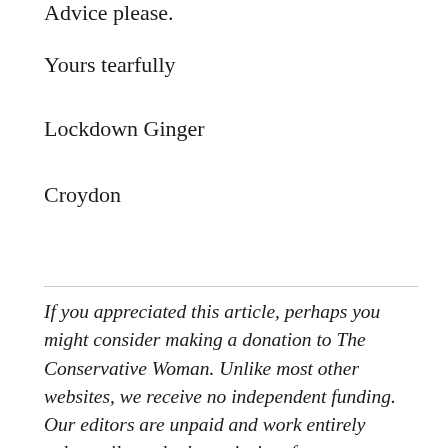Advice please.
Yours tearfully
Lockdown Ginger
Croydon
If you appreciated this article, perhaps you might consider making a donation to The Conservative Woman. Unlike most other websites, we receive no independent funding. Our editors are unpaid and work entirely voluntarily as do the majority of our contributors but there are inevitable costs associated with running a website. We depend on